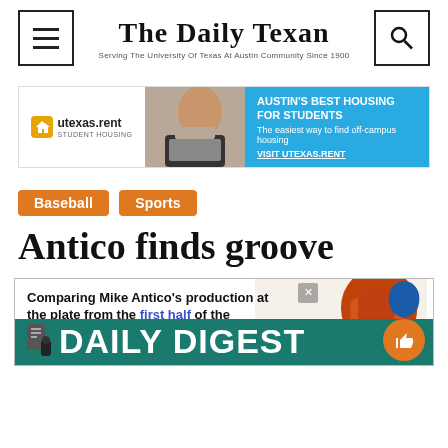The Daily Texan — Serving The University Of Texas At Austin Community Since 1900
[Figure (infographic): Advertisement banner for utexas.rent student housing. Shows logo with house icon, photo of student on laptop, and cyan background with text: AUSTIN'S BEST HOUSING FOR STUDENTS, The easiest way to find off-campus housing, VISIT UTEXAS.RENT]
Baseball
Sports
Antico finds groove
[Figure (infographic): Infographic comparing Mike Antico's production at the plate from the first half (blue text) of the season to the second half (orange text). T-shirt graphic on right side. Daily Digest overlay bar at bottom.]